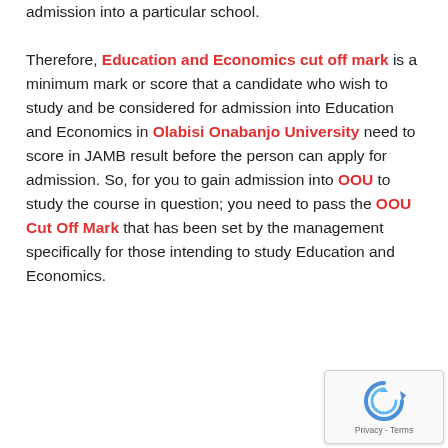admission into a particular school. Therefore, Education and Economics cut off mark is a minimum mark or score that a candidate who wish to study and be considered for admission into Education and Economics in Olabisi Onabanjo University need to score in JAMB result before the person can apply for admission. So, for you to gain admission into OOU to study the course in question; you need to pass the OOU Cut Off Mark that has been set by the management specifically for those intending to study Education and Economics.
[Figure (other): reCAPTCHA widget showing a circular arrow icon and 'Privacy - Terms' footer]